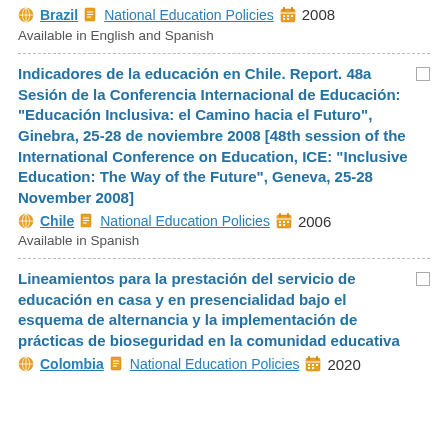Brazil | National Education Policies | 2008
Available in English and Spanish
Indicadores de la educación en Chile. Report. 48a Sesión de la Conferencia Internacional de Educación: "Educación Inclusiva: el Camino hacia el Futuro", Ginebra, 25-28 de noviembre 2008 [48th session of the International Conference on Education, ICE: "Inclusive Education: The Way of the Future", Geneva, 25-28 November 2008]
Chile | National Education Policies | 2006
Available in Spanish
Lineamientos para la prestación del servicio de educación en casa y en presencialidad bajo el esquema de alternancia y la implementación de prácticas de bioseguridad en la comunidad educativa
Colombia | National Education Policies | 2020